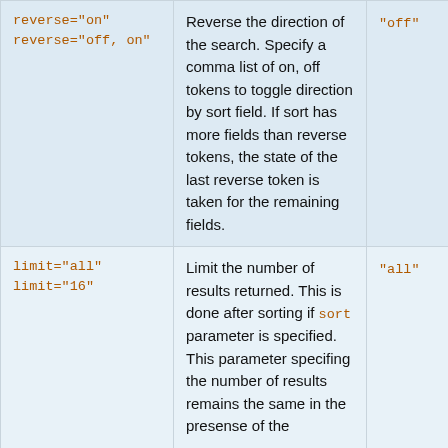| reverse="on"
reverse="off, on" | Reverse the direction of the search. Specify a comma list of on, off tokens to toggle direction by sort field. If sort has more fields than reverse tokens, the state of the last reverse token is taken for the remaining fields. | "off" |
| limit="all"
limit="16" | Limit the number of results returned. This is done after sorting if sort parameter is specified. This parameter specifing the number of results remains the same in the presense of the | "all" |